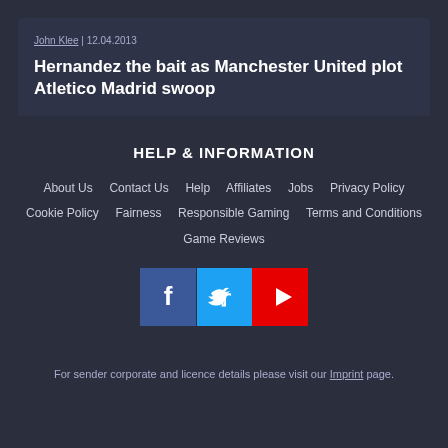John Klee | 12.04.2013
Hernandez the bait as Manchester United plot Atletico Madrid swoop
HELP & INFORMATION
About Us
Contact Us
Help
Affiliates
Jobs
Privacy Policy
Cookie Policy
Fairness
Responsible Gaming
Terms and Conditions
Game Reviews
[Figure (infographic): Social media icons: Facebook (blue), Twitter (light blue), YouTube (red)]
For sender corporate and licence details please visit our Imprint page.